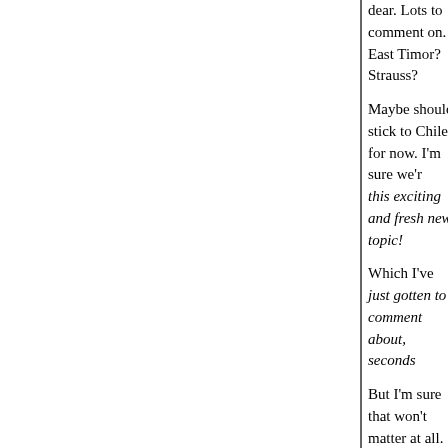dear. Lots to comment on. East Timor? Strauss?
Maybe should stick to Chile for now. I'm sure we're all very pleased with this exciting and fresh new topic!
Which I've just gotten to comment about, seconds
But I'm sure that won't matter at all.
Posted by: Gary Farber | April 09, 2008 at 10:24 AM
Again with the fascist authoritarianism! So what?
Uh . . . .never mind. It's all clear to me now.
Gary:
Assume your post finally got through after I wrote
You assume that because I say I personally have sudden I'm horribly misinformed on U.S. foreign p
But please note that I read Neruda in the native to avowed Stalinist like Neruda and enjoy it, can I re
Posted by: bc | April 09, 2008 at 11:37 AM